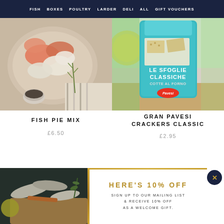FISH  BOXES  POULTRY  LARDER  DELI  ALL  GIFT VOUCHERS
[Figure (photo): Overhead photo of raw fish pieces including salmon and white fish with rosemary herb garnish in a bowl on a striped surface]
[Figure (photo): Photo of Gran Pavesi Crackers Classic Le Sfoglie Classiche Cotte al Forno product package in teal/turquoise color with crackers and lemons in background]
FISH PIE MIX
£6.50
GRAN PAVESI CRACKERS CLASSIC
£2.95
[Figure (photo): Photo of various raw fish fillets and seafood on a dark wooden board]
HERE'S 10% OFF
SIGN UP TO OUR MAILING LIST & RECEIVE 10% OFF AS A WELCOME GIFT.